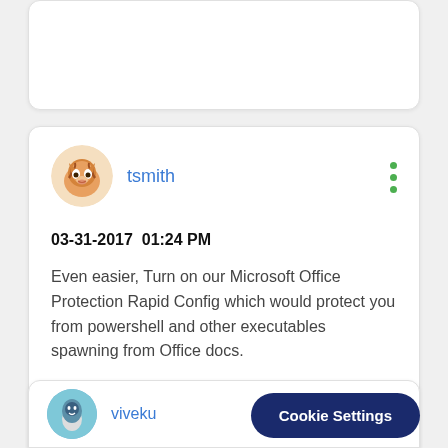[Figure (illustration): Top portion of a forum post card, mostly empty white card clipped at top of page]
[Figure (illustration): Tiger avatar image (circular) for user tsmith]
tsmith
03-31-2017  01:24 PM
Even easier, Turn on our Microsoft Office Protection Rapid Config which would protect you from powershell and other executables spawning from Office docs.
3 Kudos
[Figure (illustration): Partial bottom forum post card with bird avatar for user viveku]
viveku
Cookie Settings